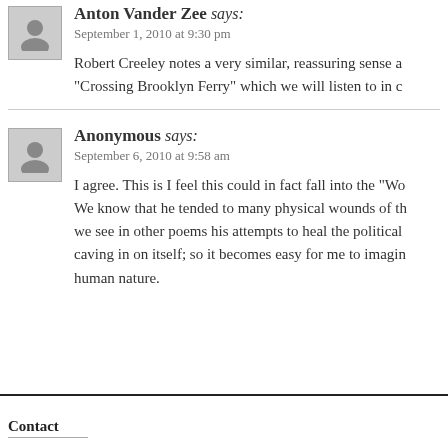Anton Vander Zee says:
September 1, 2010 at 9:30 pm
Robert Creeley notes a very similar, reassuring sense at "Crossing Brooklyn Ferry" which we will listen to in c
Anonymous says:
September 6, 2010 at 9:58 am
I agree. This is I feel this could in fact fall into the "Wo We know that he tended to many physical wounds of th we see in other poems his attempts to heal the political caving in on itself; so it becomes easy for me to imagin human nature.
Contact